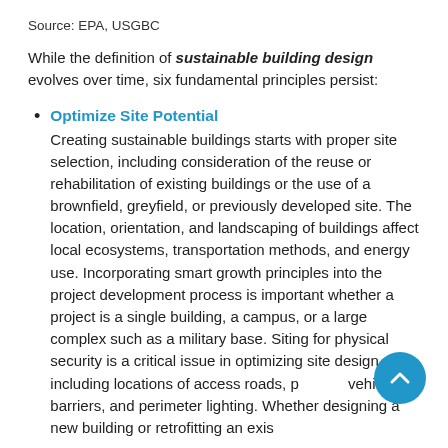Source: EPA, USGBC
While the definition of sustainable building design evolves over time, six fundamental principles persist:
Optimize Site Potential
Creating sustainable buildings starts with proper site selection, including consideration of the reuse or rehabilitation of existing buildings or the use of a brownfield, greyfield, or previously developed site. The location, orientation, and landscaping of buildings affect local ecosystems, transportation methods, and energy use. Incorporating smart growth principles into the project development process is important whether a project is a single building, a campus, or a large complex such as a military base. Siting for physical security is a critical issue in optimizing site design, including locations of access roads, parking, vehicle barriers, and perimeter lighting. Whether designing a new building or retrofitting an existing